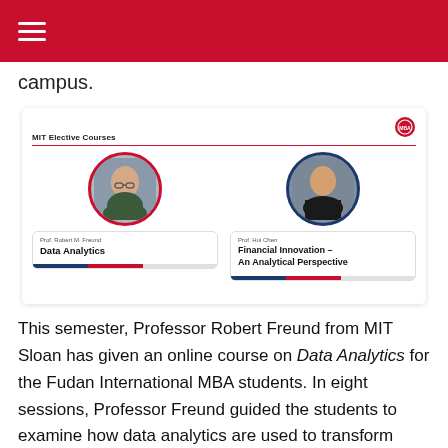campus.
[Figure (screenshot): Screenshot of MIT Elective Courses slide showing Prof. Robert M. Freund teaching Data Analytics and Prof. Hui Chen teaching Financial Innovation – An Analytical Perspective, with circular profile photos and course name cards.]
This semester, Professor Robert Freund from MIT Sloan has given an online course on Data Analytics for the Fudan International MBA students. In eight sessions, Professor Freund guided the students to examine how data analytics are used to transform